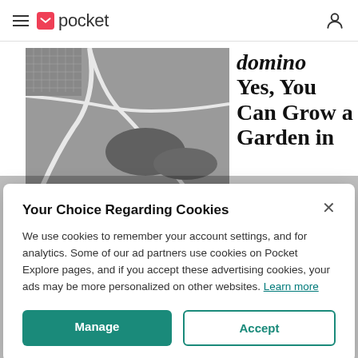pocket
[Figure (photo): Aerial black and white photograph of highways and residential neighborhoods with trees]
domino Yes, You Can Grow a Garden in
THE MIT PRESS READER
Your Choice Regarding Cookies
We use cookies to remember your account settings, and for analytics. Some of our ad partners use cookies on Pocket Explore pages, and if you accept these advertising cookies, your ads may be more personalized on other websites. Learn more
Manage
Accept